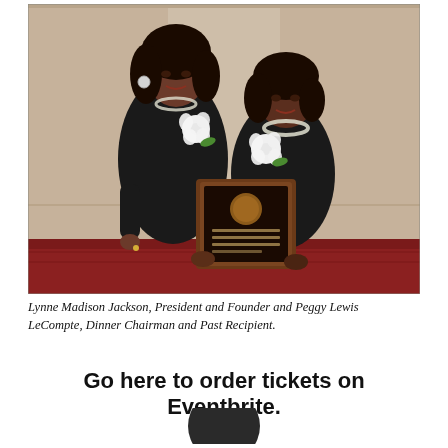[Figure (photo): Two women in formal black attire standing together. The taller woman on the left holds a plaque awarded to Peggy Lewis LeCompte. Both wear white floral corsages. The background features a decorative beige wall. The floor has a red patterned carpet.]
Lynne Madison Jackson, President and Founder and Peggy Lewis LeCompte, Dinner Chairman and Past Recipient.
Go here to order tickets on Eventbrite.